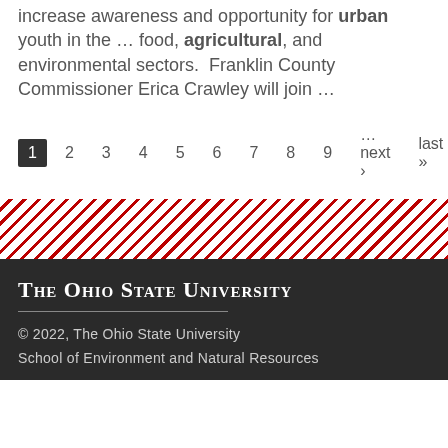increase awareness and opportunity for urban youth in the … food, agricultural, and environmental sectors.  Franklin County Commissioner Erica Crawley will join …
1 2 3 4 5 6 7 8 9 …next › last »
[Figure (other): Diagonal red and white striped decorative band]
THE OHIO STATE UNIVERSITY
© 2022, The Ohio State University
School of Environment and Natural Resources